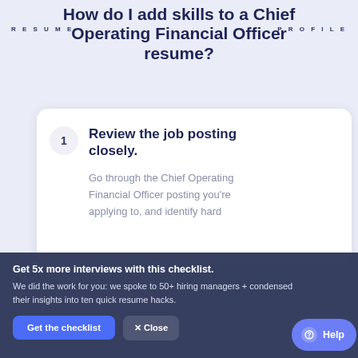RESUME PROFILE
How do I add skills to a Chief Operating Financial Officer resume?
1. Review the job posting closely.
Go through the Chief Operating Financial Officer posting you're applying to, and identify hard
Get 5x more interviews with this checklist. We did the work for you: we spoke to 50+ hiring managers + condensed their insights into ten quick resume hacks.
Get the checklist
× Close
Help